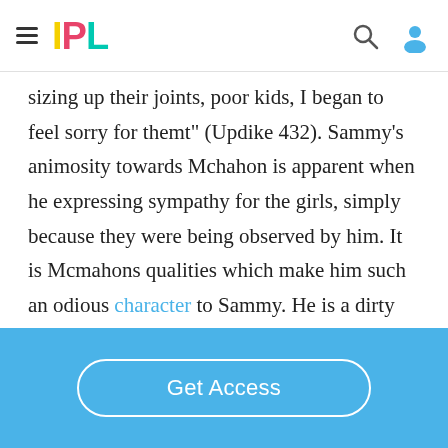IPL
sizing up their joints, poor kids, I began to feel sorry for themt” (Updike 432). Sammy’s animosity towards Mchahon is apparent when he expressing sympathy for the girls, simply because they were being observed by him. It is Mcmahons qualities which make him such an odious character to Sammy. He is a dirty old man and perverted one at that. Sammy
Get Access